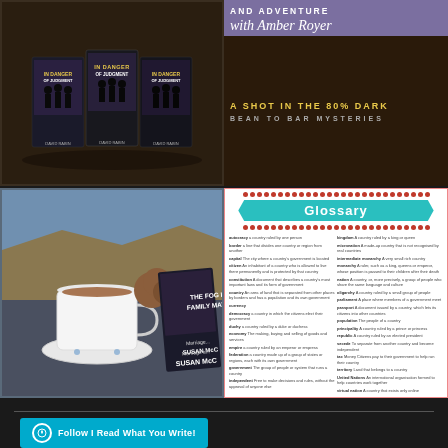[Figure (photo): Three copies of the book 'In Danger of Judgment' by David Rabin arranged on a dark background]
[Figure (photo): Promotional banner for 'Food and Adventure with Amber Royer - A Shot in the 80% Dark - Bean to Bar Mysteries' with purple and dark background]
[Figure (photo): A cup of tea with cookies beside a book 'The Fog Ladies Family Matters' by Susan McC, with a coastal cliff scene on the cover]
[Figure (other): Glossary page with teal banner heading, two-column layout of vocabulary terms and definitions including: autocracy, border, capital, citizen, constitution, country, currency, democracy, duchy, economy, empire, federation, government, independent, kingdom, micronation, intermediate monarchy, monarchy, nation, oligarchy, parliament, passport, population, principality, republic, secede, tax, territory, united nations, virtual nation]
Follow I Read What You Write!